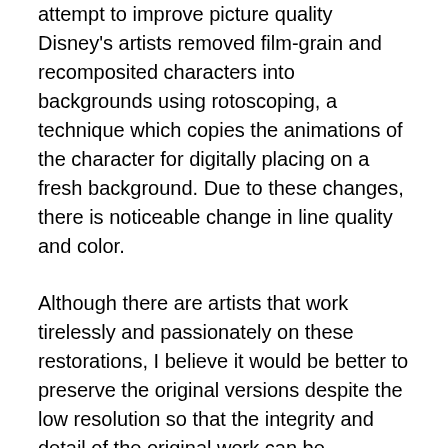attempt to improve picture quality Disney's artists removed film-grain and recomposited characters into backgrounds using rotoscoping, a technique which copies the animations of the character for digitally placing on a fresh background. Due to these changes, there is noticeable change in line quality and color.
Although there are artists that work tirelessly and passionately on these restorations, I believe it would be better to preserve the original versions despite the low resolution so that the integrity and detail of the original work can be preserved.
The “Star Wars” films are perhaps the most prominent examples of significant changes to film along with fan backlash.
The original trilogy, under the supervision of George Lucas, received numerous changes for the special